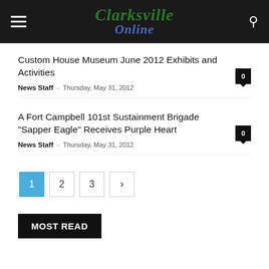Clarksville Online
Custom House Museum June 2012 Exhibits and Activities
News Staff – Thursday, May 31, 2012
A Fort Campbell 101st Sustainment Brigade "Sapper Eagle" Receives Purple Heart
News Staff – Thursday, May 31, 2012
Pagination: 1 2 3 >
MOST READ